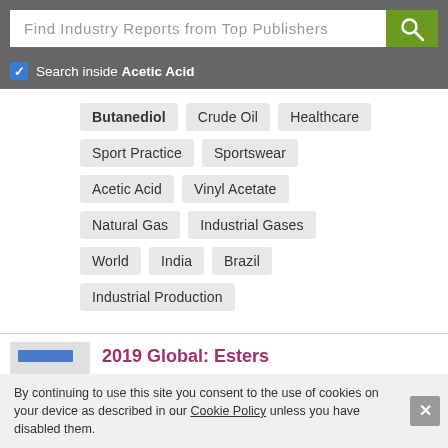[Figure (screenshot): Search bar with placeholder text 'Find Industry Reports from Top Publishers' and a green search button with magnifying glass icon]
Search inside Acetic Acid
Butanediol
Crude Oil
Healthcare
Sport Practice
Sportswear
Acetic Acid
Vinyl Acetate
Natural Gas
Industrial Gases
World
India
Brazil
Industrial Production
2019 Global: Esters
By continuing to use this site you consent to the use of cookies on your device as described in our Cookie Policy unless you have disabled them.